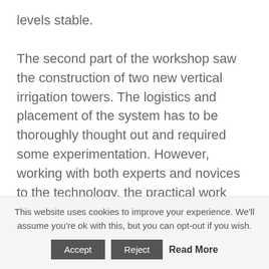levels stable.

The second part of the workshop saw the construction of two new vertical irrigation towers. The logistics and placement of the system has to be thoroughly thought out and required some experimentation. However, working with both experts and novices to the technology, the practical work session allowed us to build the towers and install the necessary pipe system in the greenhouse. The towers were then connected to the water cycling system and tested. After ensuring full functionality, the seedlings were
This website uses cookies to improve your experience. We'll assume you're ok with this, but you can opt-out if you wish.
Accept   Reject   Read More